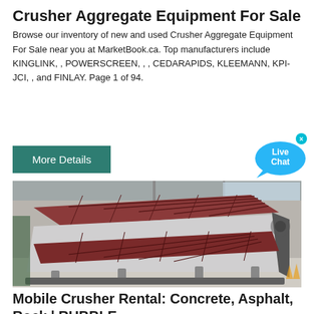Crusher Aggregate Equipment For Sale
Browse our inventory of new and used Crusher Aggregate Equipment For Sale near you at MarketBook.ca. Top manufacturers include KINGLINK, , POWERSCREEN, , , CEDARAPIDS, KLEEMANN, KPI-JCI, , and FINLAY. Page 1 of 94.
[Figure (other): Green 'More Details' button and Live Chat bubble in upper right corner]
[Figure (photo): Industrial aggregate screening equipment (vibrating screen/sieve) photographed inside a factory warehouse. The machine has a large rectangular metal frame with red grid screens on top and bottom, silver/white steel body, viewed from an angle showing its depth and internal structure.]
Mobile Crusher Rental: Concrete, Asphalt, Rock | RUBBLE …